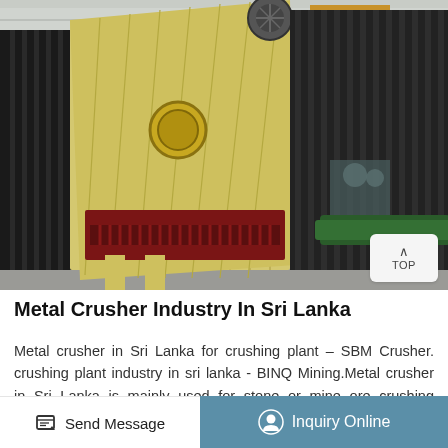[Figure (photo): Industrial metal crusher and mining equipment photographed inside a large factory/warehouse. Large yellow and black crusher machines are lined up on a concrete floor. Overhead crane visible in background.]
Metal Crusher Industry In Sri Lanka
Metal crusher in Sri Lanka for crushing plant – SBM Crusher. crushing plant industry in sri lanka - BINQ Mining.Metal crusher in Sri Lanka is mainly used for stone or mine ore crushing plant, such as aggregate crushing plant, granite sand making, gold mining. Read